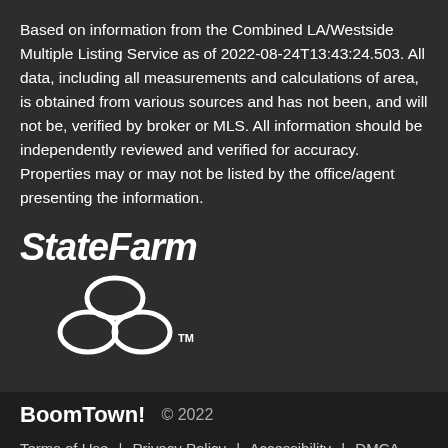Based on information from the Combined LA/Westside Multiple Listing Service as of 2022-08-24T13:43:24.503. All data, including all measurements and calculations of area, is obtained from various sources and has not been, and will not be, verified by broker or MLS. All information should be independently reviewed and verified for accuracy. Properties may or may not be listed by the office/agent presenting the information.
[Figure (logo): State Farm logo with text 'StateFarm' in bold italic and three interlocking oval circles icon with TM mark]
[Figure (logo): BoomTown! brand name in bold white text]
© 2022
Terms of Use | Privacy Policy | Accessibility | DMCA | Listings Sitemap
Take a Tour
Ask A Question